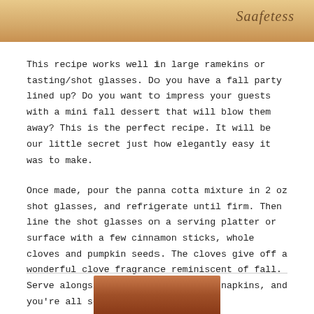[Figure (photo): Top portion of a panna cotta dessert photo with a script/cursive watermark or text overlay in the upper right corner]
This recipe works well in large ramekins or tasting/shot glasses. Do you have a fall party lined up? Do you want to impress your guests with a mini fall dessert that will blow them away? This is the perfect recipe. It will be our little secret just how elegantly easy it was to make.
Once made, pour the panna cotta mixture in 2 oz shot glasses, and refrigerate until firm. Then line the shot glasses on a serving platter or surface with a few cinnamon sticks, whole cloves and pumpkin seeds. The cloves give off a wonderful clove fragrance reminiscent of fall. Serve alongside tasting spoons and napkins, and you're all set!
[Figure (photo): Bottom portion of a food/dessert photo, partially visible at the bottom of the page]